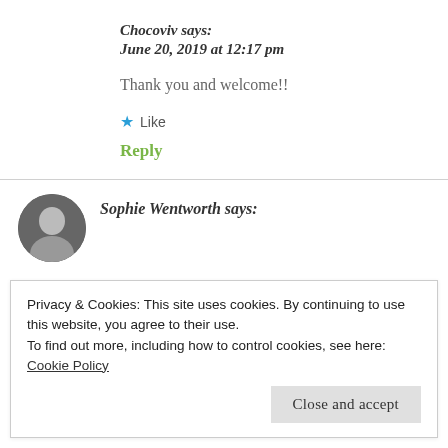Chocoviv says:
June 20, 2019 at 12:17 pm
Thank you and welcome!!
★ Like
Reply
Sophie Wentworth says:
Privacy & Cookies: This site uses cookies. By continuing to use this website, you agree to their use.
To find out more, including how to control cookies, see here: Cookie Policy
Close and accept